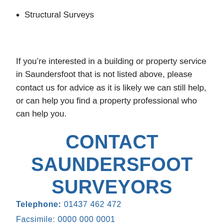Structural Surveys
If you’re interested in a building or property service in Saundersfoot that is not listed above, please contact us for advice as it is likely we can still help, or can help you find a property professional who can help you.
CONTACT SAUNDERSFOOT SURVEYORS
Telephone: 01437 462 472
Facsimile: 0000 000 0001